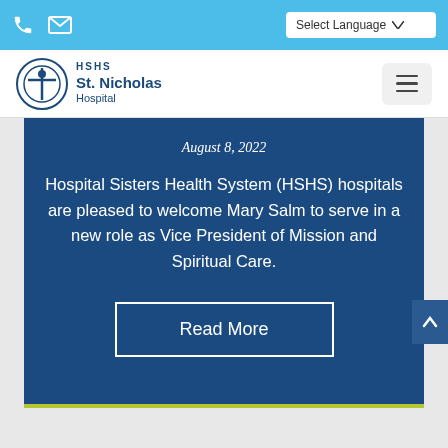HSHS St. Nicholas Hospital — Select Language | Navigation bar
[Figure (screenshot): HSHS St. Nicholas Hospital logo with phone and mail icons in sky-blue top bar and hamburger menu button]
August 8, 2022
Hospital Sisters Health System (HSHS) hospitals are pleased to welcome Mary Salm to serve in a new role as Vice President of Mission and Spiritual Care.
Read More